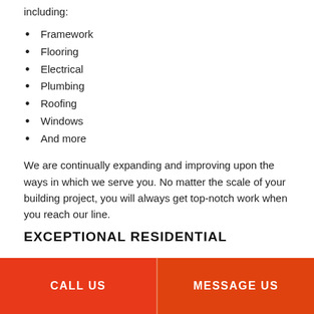including:
Framework
Flooring
Electrical
Plumbing
Roofing
Windows
And more
We are continually expanding and improving upon the ways in which we serve you. No matter the scale of your building project, you will always get top-notch work when you reach our line.
EXCEPTIONAL RESIDENTIAL
CALL US | MESSAGE US